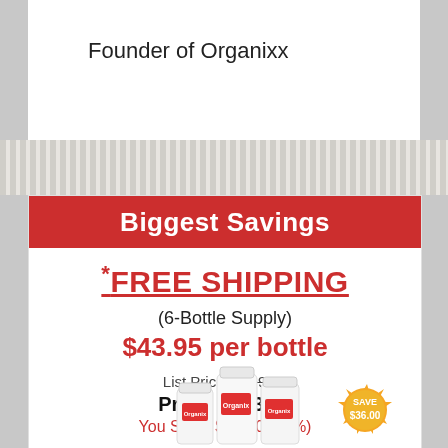Founder of Organixx
Biggest Savings
*FREE SHIPPING
(6-Bottle Supply)
$43.95 per bottle
List Price: $299.70
Price: $263.70
You Save: $36.00 (12%)
[Figure (photo): Organixx product bottles with a gold 'SAVE $36.00' badge]